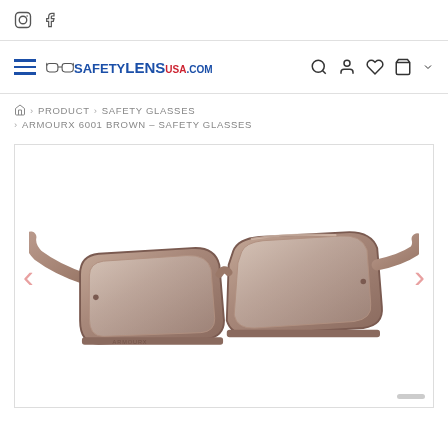Instagram and Facebook social icons
SafetyLensUSA.com navigation bar with hamburger menu, logo, search, account, wishlist, cart icons
PRODUCT > SAFETY GLASSES > ARMOURX 6001 BROWN – SAFETY GLASSES
[Figure (photo): Brown safety glasses (ArmourX 6001) photographed from a slight angle showing the frame profile and clear lenses, with left and right navigation arrows on either side of the image]